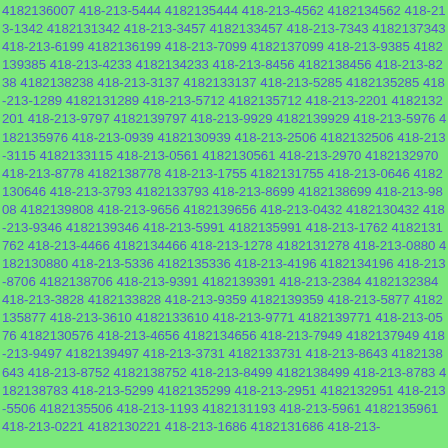4182136007 418-213-5444 4182135444 418-213-4562 4182134562 418-213-1342 4182131342 418-213-3457 4182133457 418-213-7343 4182137343 418-213-6199 4182136199 418-213-7099 4182137099 418-213-9385 4182139385 418-213-4233 4182134233 418-213-8456 4182138456 418-213-8238 4182138238 418-213-3137 4182133137 418-213-5285 4182135285 418-213-1289 4182131289 418-213-5712 4182135712 418-213-2201 4182132201 418-213-9797 4182139797 418-213-9929 4182139929 418-213-5976 4182135976 418-213-0939 4182130939 418-213-2506 4182132506 418-213-3115 4182133115 418-213-0561 4182130561 418-213-2970 4182132970 418-213-8778 4182138778 418-213-1755 4182131755 418-213-0646 4182130646 418-213-3793 4182133793 418-213-8699 4182138699 418-213-9808 4182139808 418-213-9656 4182139656 418-213-0432 4182130432 418-213-9346 4182139346 418-213-5991 4182135991 418-213-1762 4182131762 418-213-4466 4182134466 418-213-1278 4182131278 418-213-0880 4182130880 418-213-5336 4182135336 418-213-4196 4182134196 418-213-8706 4182138706 418-213-9391 4182139391 418-213-2384 4182132384 418-213-3828 4182133828 418-213-9359 4182139359 418-213-5877 4182135877 418-213-3610 4182133610 418-213-9771 4182139771 418-213-0576 4182130576 418-213-4656 4182134656 418-213-7949 4182137949 418-213-9497 4182139497 418-213-3731 4182133731 418-213-8643 4182138643 418-213-8752 4182138752 418-213-8499 4182138499 418-213-8783 4182138783 418-213-5299 4182135299 418-213-2951 4182132951 418-213-5506 4182135506 418-213-1193 4182131193 418-213-5961 4182135961 418-213-0221 4182130221 418-213-1686 4182131686 418-213-